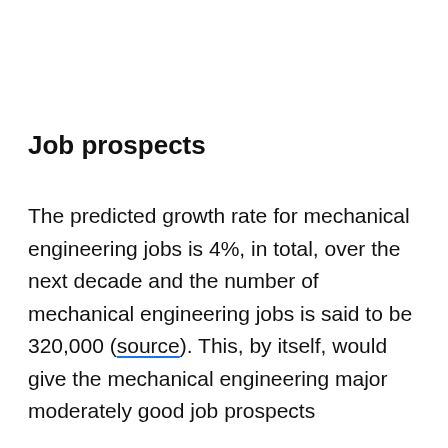Job prospects
The predicted growth rate for mechanical engineering jobs is 4%, in total, over the next decade and the number of mechanical engineering jobs is said to be 320,000 (source). This, by itself, would give the mechanical engineering major moderately good job prospects